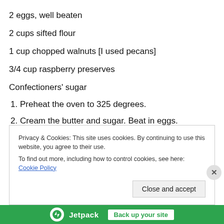2 eggs, well beaten
2 cups sifted flour
1 cup chopped walnuts [I used pecans]
3/4 cup raspberry preserves
Confectioners' sugar
1. Preheat the oven to 325 degrees.
2. Cream the butter and sugar. Beat in eggs.
Privacy & Cookies: This site uses cookies. By continuing to use this website, you agree to their use. To find out more, including how to control cookies, see here: Cookie Policy